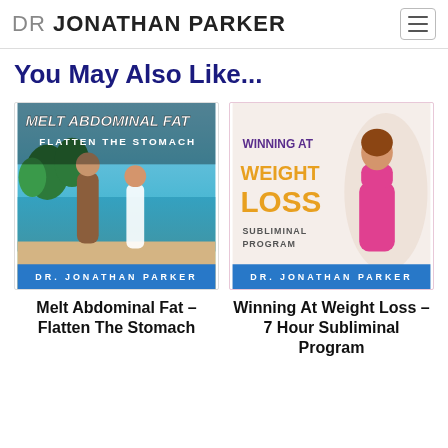DR JONATHAN PARKER
You May Also Like...
[Figure (illustration): Product cover for Melt Abdominal Fat – Flatten The Stomach by Dr. Jonathan Parker. Shows a fit couple on a beach with bold white italic text 'MELT ABDOMINAL FAT' and 'FLATTEN THE STOMACH' on a blue/ocean background, blue banner at bottom with 'DR. JONATHAN PARKER'.]
Melt Abdominal Fat – Flatten The Stomach
[Figure (illustration): Product cover for Winning At Weight Loss – 7 Hour Subliminal Program by Dr. Jonathan Parker. Shows a woman in pink sportswear with orange bold text 'WINNING AT WEIGHT LOSS' and 'SUBLIMINAL PROGRAM' on a light background, blue banner at bottom with 'DR. JONATHAN PARKER'.]
Winning At Weight Loss – 7 Hour Subliminal Program